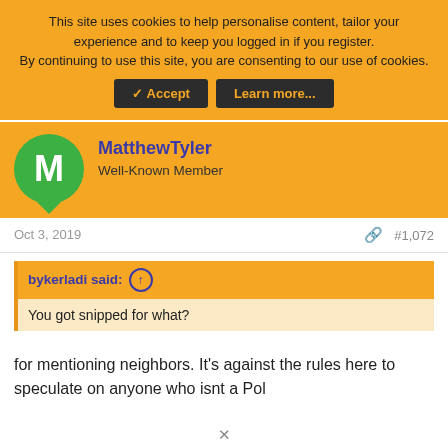This site uses cookies to help personalise content, tailor your experience and to keep you logged in if you register.
By continuing to use this site, you are consenting to our use of cookies.
MatthewTyler
Well-Known Member
Oct 3, 2019	#1,072
bykerladi said: ↑
You got snipped for what?
for mentioning neighbors. It's against the rules here to speculate on anyone who isnt a Pol